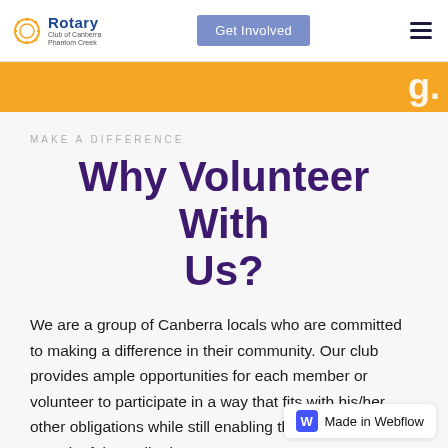Rotary Club of Canberra Phantom Creek | Get Involved
MAKE A DIFFERENCE
Why Volunteer With Us?
We are a group of Canberra locals who are committed to making a difference in their community. Our club provides ample opportunities for each member or volunteer to participate in a way that fits with his/her other obligations while still enabling them to make a meaningful contribution.